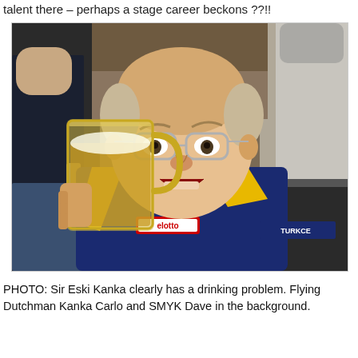talent there – perhaps a stage career beckons ??!!
[Figure (photo): A man wearing a dark blue and yellow Lotto jacket with a Turkcell patch, drinking from a large glass beer mug with a surprised expression and wide eyes, wearing glasses. Two people are visible in the background — one on the left in a dark jacket holding a drink, and one on the right in a light grey t-shirt.]
PHOTO: Sir Eski Kanka clearly has a drinking problem. Flying Dutchman Kanka Carlo and SMYK Dave in the background.